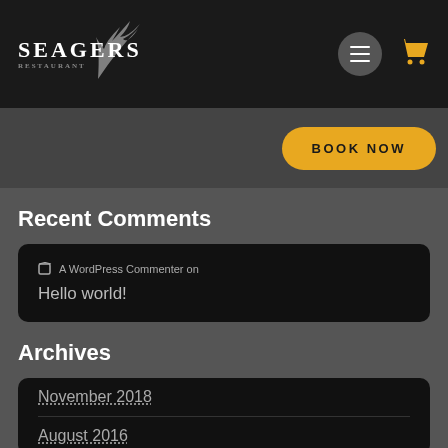Seagers Restaurant
BOOK NOW
Recent Comments
A WordPress Commenter on
Hello world!
Archives
November 2018
August 2016